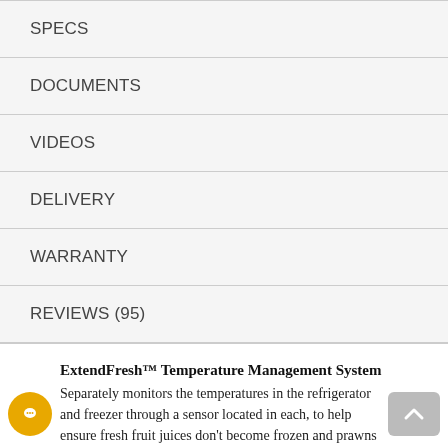SPECS
DOCUMENTS
VIDEOS
DELIVERY
WARRANTY
REVIEWS (95)
ExtendFresh™ Temperature Management System
Separately monitors the temperatures in the refrigerator and freezer through a sensor located in each, to help ensure fresh fruit juices don't become frozen and prawns avoid freezer burn.
Interior Water Dispenser
provides easy access to filtered water inside the refrigerator
Produce Preserver